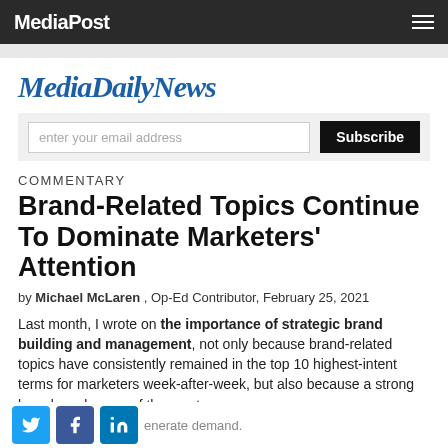MediaPost
[Figure (logo): MediaDailyNews logo in blue italic serif font]
enter your email address  Subscribe
COMMENTARY
Brand-Related Topics Continue To Dominate Marketers' Attention
by Michael McLaren , Op-Ed Contributor, February 25, 2021
Last month, I wrote on the importance of strategic brand building and management, not only because brand-related topics have consistently remained in the top 10 highest-intent terms for marketers week-after-week, but also because a strong brand can be one of the most ... enerate demand.